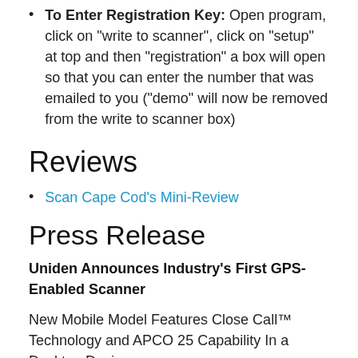To Enter Registration Key: Open program, click on "write to scanner", click on "setup" at top and then "registration" a box will open so that you can enter the number that was emailed to you ("demo" will now be removed from the write to scanner box)
Reviews
Scan Cape Cod's Mini-Review
Press Release
Uniden Announces Industry's First GPS-Enabled Scanner
New Mobile Model Features Close Call™ Technology and APCO 25 Capability In a Desktop Design
Fort Worth, Texas, September 1, 2005 – Uniden America Corporation, a leading manufacturer of wireless consumer electronics, today announced a new mobile digital